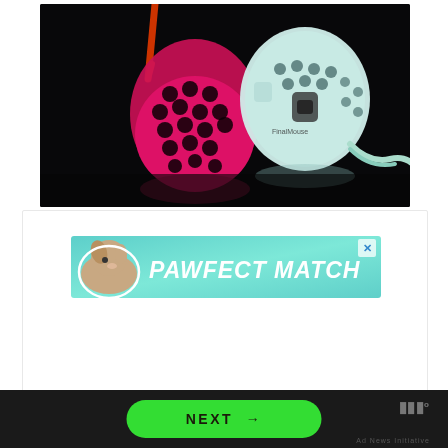[Figure (photo): Two gaming mice on a dark/black background — one pink/red with honeycomb shell design (left) and one white/mint colored with honeycomb design (right). An orange cable is visible on the pink mouse and a teal cable on the white mouse.]
ADVERTISEMENT
[Figure (photo): Advertisement banner for 'PAWFECT MATCH' — teal/turquoise background with an illustrated dog (whippet/greyhound) on the left and bold italic white text reading 'PAWFECT MATCH'. An X close button appears in the top right corner.]
NEXT →